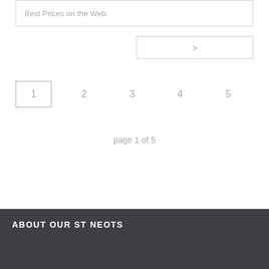Best Prices on the Web.
>
1  2  3  4  5
page 1 of 5
ABOUT OUR ST NEOTS